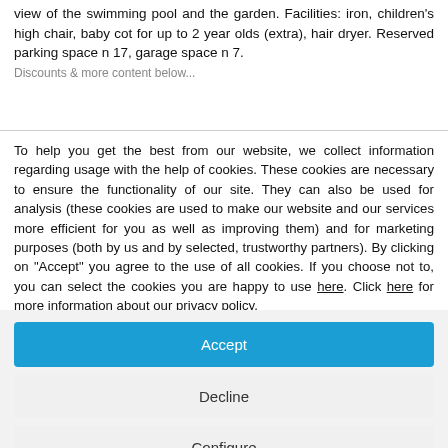view of the swimming pool and the garden. Facilities: iron, children's high chair, baby cot for up to 2 year olds (extra), hair dryer. Reserved parking space n 17, garage space n 7. Discounts...
To help you get the best from our website, we collect information regarding usage with the help of cookies. These cookies are necessary to ensure the functionality of our site. They can also be used for analysis (these cookies are used to make our website and our services more efficient for you as well as improving them) and for marketing purposes (both by us and by selected, trustworthy partners). By clicking on "Accept" you agree to the use of all cookies. If you choose not to, you can select the cookies you are happy to use here. Click here for more information about our privacy policy.
Accept
Decline
Configure